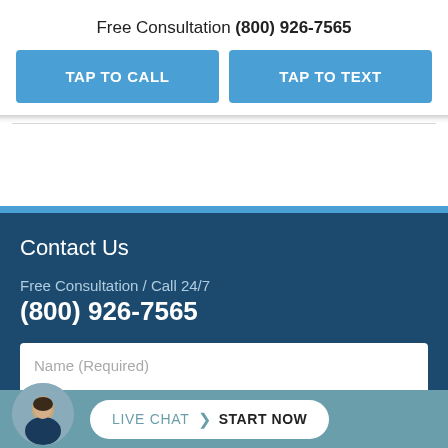Free Consultation (800) 926-7565
TAP TO CALL
TAP TO TEXT
Contact Us
Free Consultation / Call 24/7
(800) 926-7565
Name (Required)
LIVE CHAT  START NOW